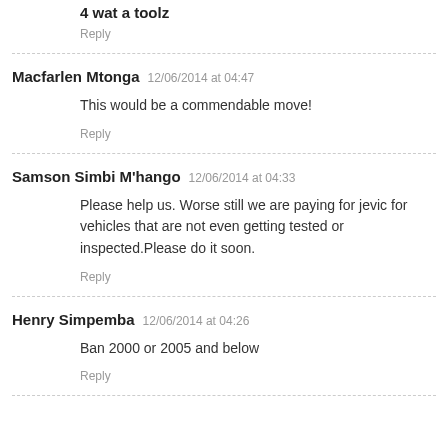4 wat a toolz
Reply
Macfarlen Mtonga 12/06/2014 at 04:47
This would be a commendable move!
Reply
Samson Simbi M'hango 12/06/2014 at 04:33
Please help us. Worse still we are paying for jevic for vehicles that are not even getting tested or inspected.Please do it soon.
Reply
Henry Simpemba 12/06/2014 at 04:26
Ban 2000 or 2005 and below
Reply